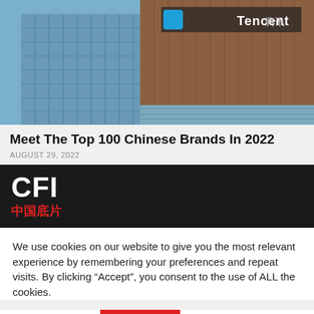[Figure (photo): Photo of a modern glass and copper-toned skyscraper with 'Tencent' signage visible at the top, shot from a low angle against a blue sky.]
Meet The Top 100 Chinese Brands In 2022
AUGUST 29, 2022
[Figure (logo): CFI logo in white bold text with Chinese characters '中国底片' in red below, on a dark background.]
We use cookies on our website to give you the most relevant experience by remembering your preferences and repeat visits. By clicking “Accept”, you consent to the use of ALL the cookies.
Cookie settings    ACCEPT